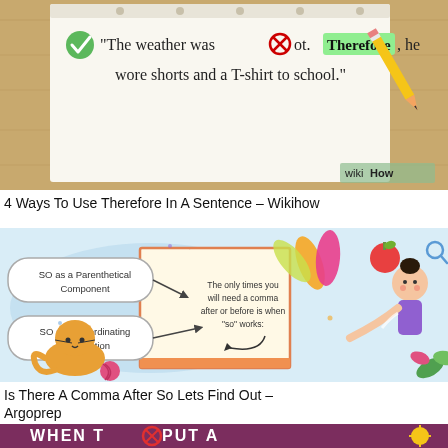[Figure (illustration): WikiHow style illustration showing a notepad on a wooden background with a pencil. Green checkmark and red X icon visible. Text on notepad reads: "The weather was [X] ot. Therefore, he wore shorts and a T-shirt to school." The word 'Therefore' is highlighted in green. WikiHow watermark in bottom right.]
4 Ways To Use Therefore In A Sentence – Wikihow
[Figure (infographic): Infographic on light blue background showing an open book held by a cartoon boy. Two rounded rectangle labels on the left: 'SO as a Parenthetical Component' and 'SO as a Coordinating Conjunction'. Center text on book: 'The only times you will need a comma after or before is when "so" works:'. Decorative feathers, apple, cat, and leaves visible.]
Is There A Comma After So Lets Find Out – Argoprep
[Figure (infographic): Partial view of a purple/maroon banner infographic. White bold text reads 'WHEN T[X] PUT A' with a red X icon and a sun/brain icon on the right. Bottom of page cut off.]